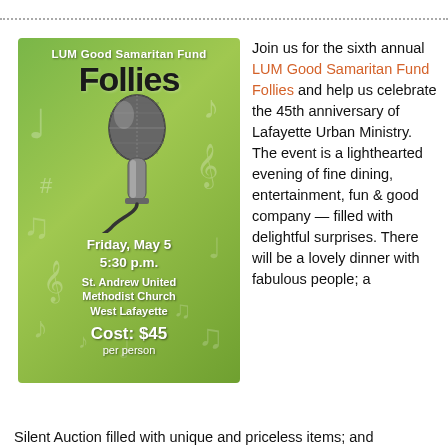[Figure (illustration): Event poster for LUM Good Samaritan Fund Follies with green background, microphone graphic, music notes. Details: Friday, May 5, 5:30 p.m., St. Andrew United Methodist Church, West Lafayette. Cost: $45 per person.]
Join us for the sixth annual LUM Good Samaritan Fund Follies and help us celebrate the 45th anniversary of Lafayette Urban Ministry. The event is a lighthearted evening of fine dining, entertainment, fun & good company — filled with delightful surprises. There will be a lovely dinner with fabulous people; a Silent Auction filled with unique and priceless items; and